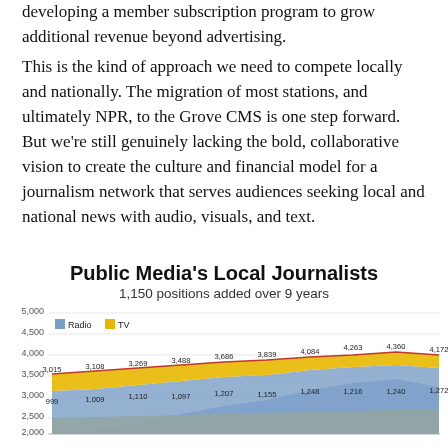developing a member subscription program to grow additional revenue beyond advertising.
This is the kind of approach we need to compete locally and nationally. The migration of most stations, and ultimately NPR, to the Grove CMS is one step forward. But we're still genuinely lacking the bold, collaborative vision to create the culture and financial model for a journalism network that serves audiences seeking local and national news with audio, visuals, and text.
Public Media's Local Journalists
1,150 positions added over 9 years
[Figure (area-chart): Public Media's Local Journalists]